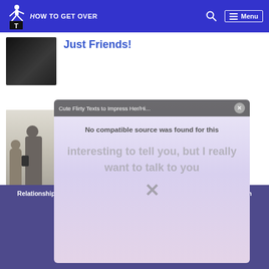HOW TO GET OVER — Menu
[Figure (photo): Partial thumbnail of a dark image, top of article card cut off at top]
Just Friends!
[Figure (photo): Thumbnail showing a couple, a woman and a man looking at a phone]
Status That Makes Your Ex Jealous
Relationship  Relationship  Psychology  Health
[Figure (screenshot): Video popup overlay: 'Cute Flirty Texts to Impress Her/Hi...' title bar with close button. Body says 'No compatible source was found for this' and ghost text 'interesting to tell you, but I really want to talk to you' with X close button.]